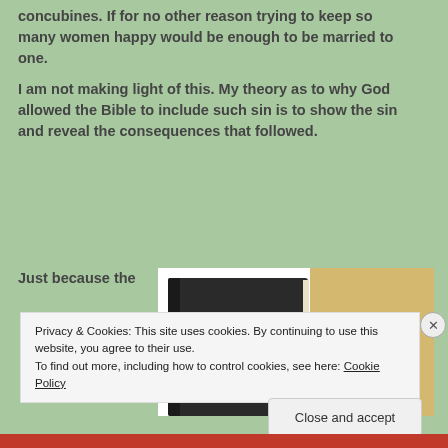concubines. If for no other reason trying to keep so many women happy would be enough to be married to one.
I am not making light of this. My theory as to why God allowed the Bible to include such sin is to show the sin and reveal the consequences that followed.
Just because the
[Figure (photo): Image of a Holy Bible book alongside a book titled 'Let the Word of God Transform']
Privacy & Cookies: This site uses cookies. By continuing to use this website, you agree to their use.
To find out more, including how to control cookies, see here: Cookie Policy
Close and accept